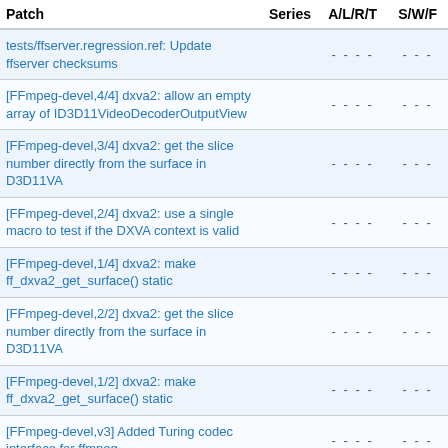| Patch | Series | A/L/R/T | S/W/F |
| --- | --- | --- | --- |
| tests/ffserver.regression.ref: Update ffserver checksums |  | - - - - | - - - |
| [FFmpeg-devel,4/4] dxva2: allow an empty array of ID3D11VideoDecoderOutputView |  | - - - - | - - - |
| [FFmpeg-devel,3/4] dxva2: get the slice number directly from the surface in D3D11VA |  | - - - - | - - - |
| [FFmpeg-devel,2/4] dxva2: use a single macro to test if the DXVA context is valid |  | - - - - | - - - |
| [FFmpeg-devel,1/4] dxva2: make ff_dxva2_get_surface() static |  | - - - - | - - - |
| [FFmpeg-devel,2/2] dxva2: get the slice number directly from the surface in D3D11VA |  | - - - - | - - - |
| [FFmpeg-devel,1/2] dxva2: make ff_dxva2_get_surface() static |  | - - - - | - - - |
| [FFmpeg-devel,v3] Added Turing codec interface for ffmpeg |  | - - - - | - - - |
| [FFmpeg-devel] Timer for ffmpeg... |  |  |  |